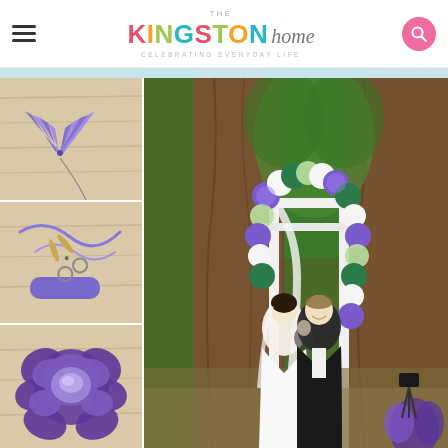THE KINGSTON home — CELEBRATING EVERYDAY LIFE
[Figure (photo): Collage of DIY paper flower/pompon craft steps on left (3 photos: folded purple paper fan with wire, purple ribbon with scissors and craft stick, completed purple tissue paper flower/pompon) and large right photo of bride and groom at outdoor wedding ceremony under a white arch decorated with purple, green, and white tissue paper pompons.]